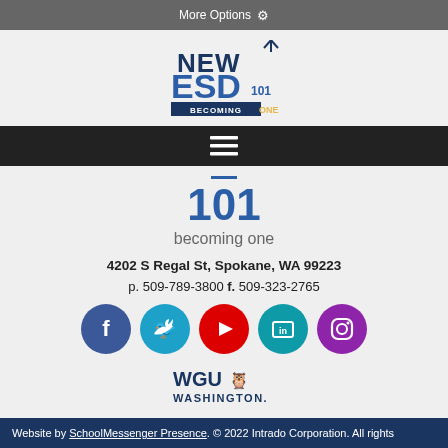More Options ⚙
[Figure (logo): NEW ESD 101 BECOMING ONE logo]
[Figure (other): Hamburger navigation menu icon (three white lines on dark background)]
101
becoming one
4202 S Regal St, Spokane, WA 99223
p. 509-789-3800 f. 509-323-2765
[Figure (other): Social media icons row: Facebook (blue circle), Twitter (teal circle), YouTube (red circle), LinkedIn (teal circle), Instagram (purple circle)]
[Figure (logo): WGU Washington logo]
Website by SchoolMessenger Presence. © 2022 Intrado Corporation. All rights